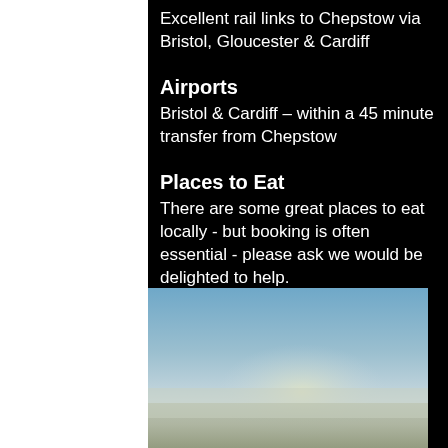Excellent rail links to Chepstow via Bristol, Gloucester & Cardiff
Airports
Bristol  & Cardiff – within a 45 minute transfer from Chepstow
Places to Eat
There are some great places to eat locally - but booking is often essential - please ask we would be delighted to help.
[Figure (photo): Outdoor landscape photo showing a sky with blue tones and misty/foggy lower portion, likely a scenic view near Chepstow]